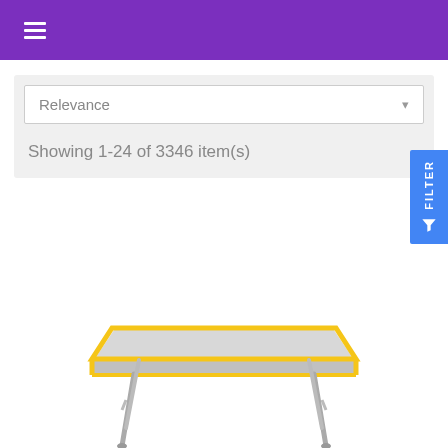≡ (hamburger menu, purple header bar)
Relevance
Showing 1-24 of 3346 item(s)
[Figure (other): Blue FILTER button on right side with funnel icon]
[Figure (photo): A rectangular school/classroom desk with yellow trim edges and silver metal legs, viewed from a slight angle]